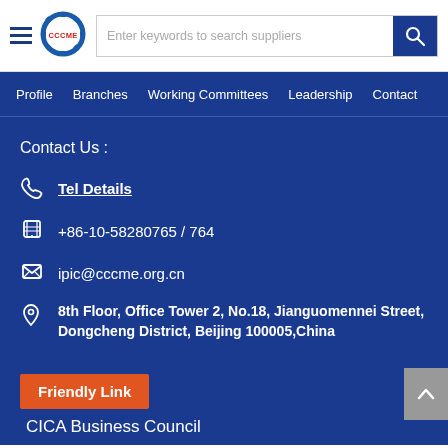CCCME website header with logo, search bar, and navigation
Profile  Branches  Working Committees  Leadership  Contact
Contact Us :
Tel Details
+86-10-58280765 / 764
ipic@cccme.org.cn
8th Floor, Office Tower 2, No.18, Jianguomennei Street, Dongcheng District, Beijing 100005,China
Friendly Link
CICA Business Council